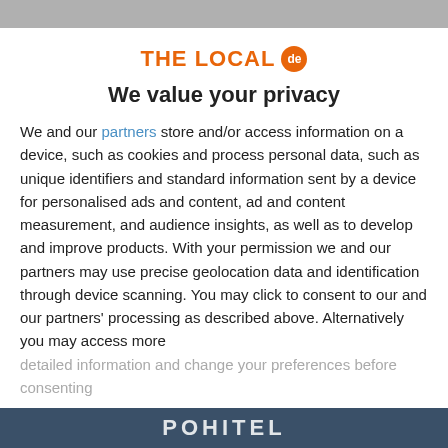[Figure (logo): The Local de logo — orange text 'THE LOCAL' with orange circular badge containing 'de']
We value your privacy
We and our partners store and/or access information on a device, such as cookies and process personal data, such as unique identifiers and standard information sent by a device for personalised ads and content, ad and content measurement, and audience insights, as well as to develop and improve products. With your permission we and our partners may use precise geolocation data and identification through device scanning. You may click to consent to our and our partners' processing as described above. Alternatively you may access more detailed information and change your preferences before consenting
ACCEPT
MORE OPTIONS